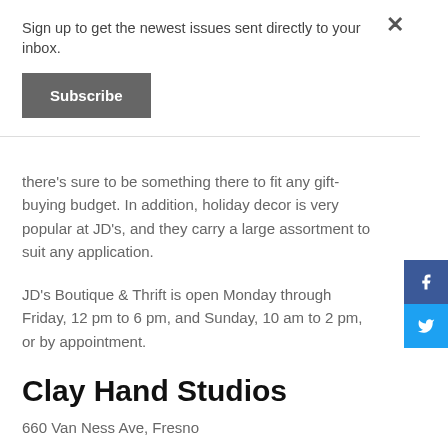Sign up to get the newest issues sent directly to your inbox.
Subscribe
there's sure to be something there to fit any gift-buying budget. In addition, holiday decor is very popular at JD's, and they carry a large assortment to suit any application.
JD's Boutique & Thrift is open Monday through Friday, 12 pm to 6 pm, and Sunday, 10 am to 2 pm, or by appointment.
Clay Hand Studios
660 Van Ness Ave, Fresno
(559) 999-7974